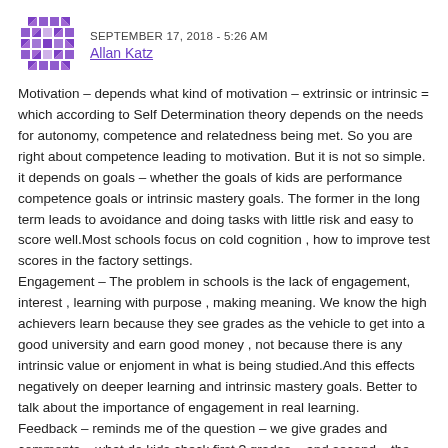SEPTEMBER 17, 2018 - 5:26 AM
Allan Katz
Motivation – depends what kind of motivation – extrinsic or intrinsic = which according to Self Determination theory depends on the needs for autonomy, competence and relatedness being met. So you are right about competence leading to motivation. But it is not so simple. it depends on goals – whether the goals of kids are performance competence goals or intrinsic mastery goals. The former in the long term leads to avoidance and doing tasks with little risk and easy to score well.Most schools focus on cold cognition , how to improve test scores in the factory settings.
Engagement – The problem in schools is the lack of engagement, interest , learning with purpose , making meaning. We know the high achievers learn because they see grades as the vehicle to get into a good university and earn good money , not because there is any intrinsic value or enjoment in what is being studied.And this effects negatively on deeper learning and intrinsic mastery goals. Better to talk about the importance of engagement in real learning.
Feedback – reminds me of the question – we give grades and comments – what do kids check first ? grades – and second – the